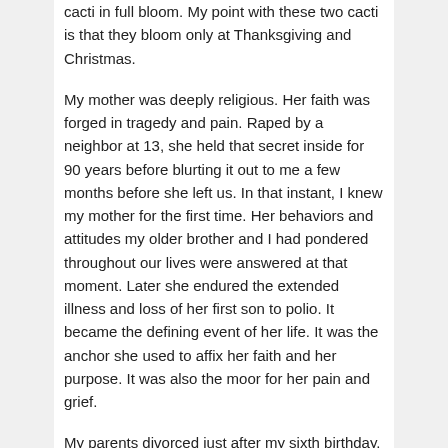cacti in full bloom. My point with these two cacti is that they bloom only at Thanksgiving and Christmas.
My mother was deeply religious. Her faith was forged in tragedy and pain. Raped by a neighbor at 13, she held that secret inside for 90 years before blurting it out to me a few months before she left us. In that instant, I knew my mother for the first time. Her behaviors and attitudes my older brother and I had pondered throughout our lives were answered at that moment. Later she endured the extended illness and loss of her first son to polio. It became the defining event of her life. It was the anchor she used to affix her faith and her purpose. It was also the moor for her pain and grief.
My parents divorced just after my sixth birthday. We moved to live with grandparents where my mother, with no education, marketable skills, or good advice, had to figure out the best path for raising two sons and making a living in an environment hostile to women and particularly a young divorcee in 1951 in Indiana. As I noted earlier, she